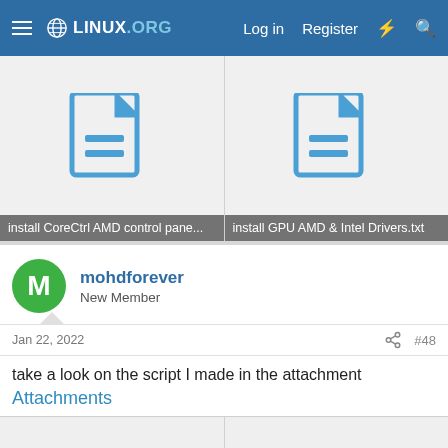LINUX.ORG  Log in  Register
[Figure (screenshot): Two file attachment thumbnails: 'install CoreCtrl AMD control pane...' and 'install GPU AMD & Intel Drivers.txt']
mohdforever
New Member
Jan 22, 2022
#48
take a look on the script I made in the attachment
Attachments
[Figure (screenshot): Two partially visible file attachment thumbnail placeholders at bottom of page]